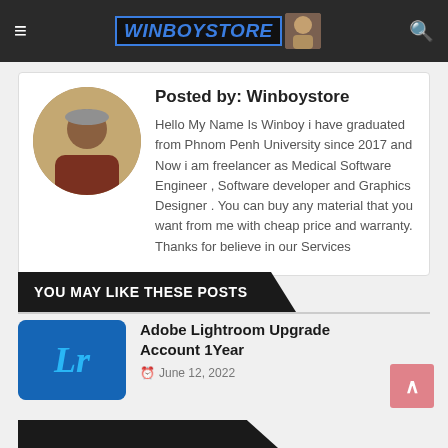WINBOYSTORE
Posted by: Winboystore
Hello My Name Is Winboy i have graduated from Phnom Penh University since 2017 and Now i am freelancer as Medical Software Engineer , Software developer and Graphics Designer . You can buy any material that you want from me with cheap price and warranty. Thanks for believe in our Services
YOU MAY LIKE THESE POSTS
Adobe Lightroom Upgrade Account 1Year
June 12, 2022